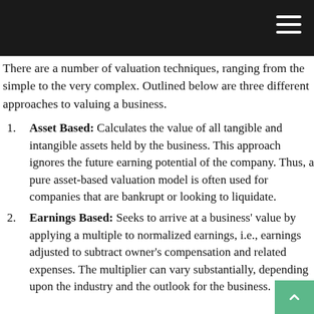There are a number of valuation techniques, ranging from the simple to the very complex. Outlined below are three different approaches to valuing a business.
Asset Based: Calculates the value of all tangible and intangible assets held by the business. This approach ignores the future earning potential of the company. Thus, a pure asset-based valuation model is often used for companies that are bankrupt or looking to liquidate.
Earnings Based: Seeks to arrive at a business' value by applying a multiple to normalized earnings, i.e., earnings adjusted to subtract owner's compensation and related expenses. The multiplier can vary substantially, depending upon the industry and the outlook for the business.